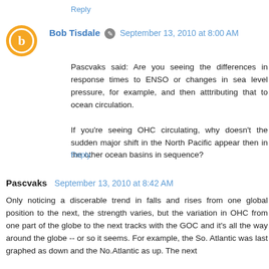Reply
Bob Tisdale • September 13, 2010 at 8:00 AM
Pascvaks said: Are you seeing the differences in response times to ENSO or changes in sea level pressure, for example, and then atttributing that to ocean circulation.

If you're seeing OHC circulating, why doesn't the sudden major shift in the North Pacific appear then in the other ocean basins in sequence?
Reply
Pascvaks September 13, 2010 at 8:42 AM
Only noticing a discerable trend in falls and rises from one global position to the next, the strength varies, but the variation in OHC from one part of the globe to the next tracks with the GOC and it's all the way around the globe -- or so it seems. For example, the So. Atlantic was last graphed as down and the No.Atlantic as up. The next